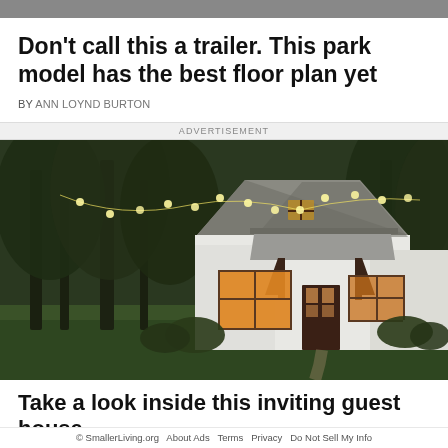Don't call this a trailer. This park model has the best floor plan yet
BY ANN LOYND BURTON
ADVERTISEMENT
[Figure (photo): Exterior photo of a small white cottage-style park model home with string lights, a covered porch entrance with wood brackets, and large windows glowing warmly from inside, surrounded by trees and green lawn at dusk.]
Take a look inside this inviting guest house
© SmallerLiving.org  About Ads  Terms  Privacy  Do Not Sell My Info